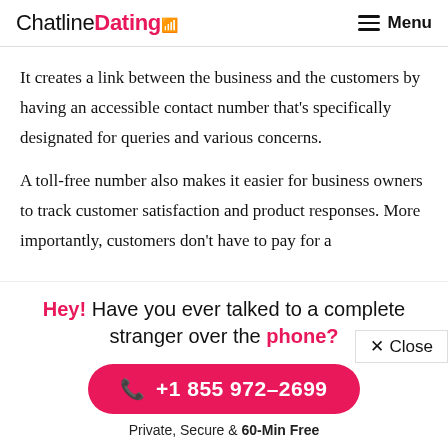ChatlineDating Menu
It creates a link between the business and the customers by having an accessible contact number that's specifically designated for queries and various concerns.
A toll-free number also makes it easier for business owners to track customer satisfaction and product responses. More importantly, customers don't have to pay for a
× Close
Hey! Have you ever talked to a complete stranger over the phone?
+1 855 972–2699
Private, Secure & 60-Min Free